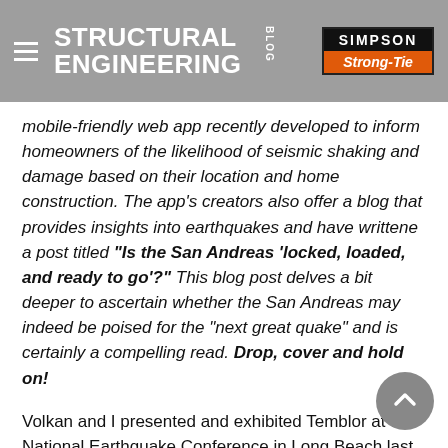STRUCTURAL ENGINEERING BLOG — Simpson Strong-Tie
mobile-friendly web app recently developed to inform homeowners of the likelihood of seismic shaking and damage based on their location and home construction. The app's creators also offer a blog that provides insights into earthquakes and have writtene a post titled “Is the San Andreas ‘locked, loaded, and ready to go’?” This blog post delves a bit deeper to ascertain whether the San Andreas may indeed be poised for the “next great quake” and is certainly a compelling read. Drop, cover and hold on!
Volkan and I presented and exhibited Temblor at the National Earthquake Conference in Long Beach last week. Prof. Thomas Jordan, USC University Professor,